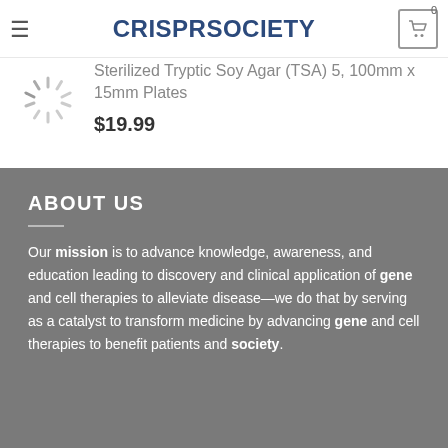CRISPRSOCIETY
Pain. Free shipping
$6.99
[Figure (illustration): Product thumbnail image placeholder in top left]
[Figure (illustration): Loading spinner animation icon]
Sterilized Tryptic Soy Agar (TSA) 5, 100mm x 15mm Plates
$19.99
ABOUT US
Our mission is to advance knowledge, awareness, and education leading to discovery and clinical application of gene and cell therapies to alleviate disease—we do that by serving as a catalyst to transform medicine by advancing gene and cell therapies to benefit patients and society.